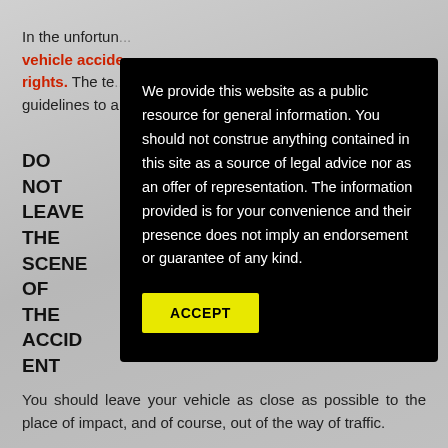In the unfortunate event of a vehicle accident ... your rights. The te... guidelines to a...
DO NOT LEAVE THE SCENE OF THE ACCIDENT
We provide this website as a public resource for general information. You should not construe anything contained in this site as a source of legal advice nor as an offer of representation. The information provided is for your convenience and their presence does not imply an endorsement or guarantee of any kind.
ACCEPT
You should leave your vehicle as close as possible to the place of impact, and of course, out of the way of traffic.